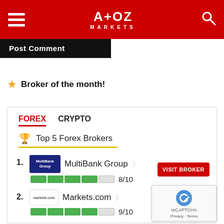A+OZ MARKETS
Post Comment
★ Broker of the month!
FOREX   CRYPTO
🏆 Top 5 Forex Brokers
1. MultiBank Group 8/10
2. Markets.com 9/10